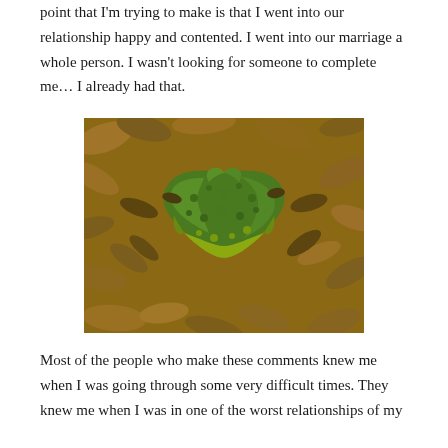point that I'm trying to make is that I went into our relationship happy and contented. I went into our marriage a whole person. I wasn't looking for someone to complete me... I already had that.
[Figure (photo): A heart-shaped clump of green and yellow-green moss surrounded by dry brown fallen leaves on the ground.]
Most of the people who make these comments knew me when I was going through some very difficult times. They knew me when I was in one of the worst relationships of my